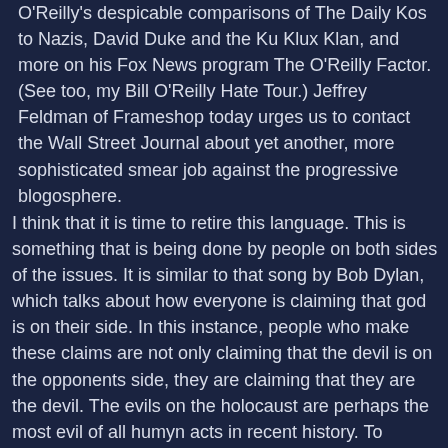O'Reilly's despicable comparisons of The Daily Kos to Nazis, David Duke and the Ku Klux Klan, and more on his Fox News program The O'Reilly Factor. (See too, my Bill O'Reilly Hate Tour.) Jeffrey Feldman of Frameshop today urges us to contact the Wall Street Journal about yet another, more sophisticated smear job against the progressive blogosphere.
I think that it is time to retire this language. This is something that is being done by people on both sides of the issues. It is similar to that song by Bob Dylan, which talks about how everyone is claiming that god is on their side. In this instance, people who make these claims are not only claiming that the devil is on the opponents side, they are claiming that they are the devil. The evils on the holocaust are perhaps the most evil of all humyn acts in recent history. To compare the activities of any member of a functioning